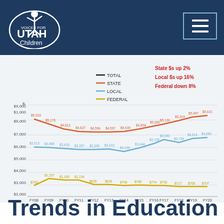Voices for Utah Children
[Figure (line-chart): Education Funding Per Pupil Trends]
State $s up 2%
Local $s up 16%
Federal down 8%
Trends in Education